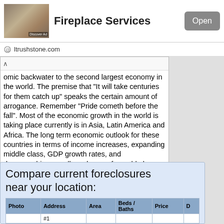[Figure (screenshot): App store advertisement banner for Fireplace Services with a stone fireplace image, bold title 'Fireplace Services', and an 'Open' button]
ltrushstone.com
omic backwater to the second largest economy in the world. The premise that "It will take centuries for them catch up" speaks the certain amount of arrogance. Remember "Pride cometh before the fall". Most of the economic growth in the world is taking place currently is in Asia, Latin America and Africa. The long term economic outlook for these countries in terms of income increases, expanding middle class, GDP growth rates, and demographics are all much more favorable long term than they are for Europe and the United States.
Rate this post positively
Compare current foreclosures near your location:
| Photo | Address | Area | Beds / Baths | Price | D |
| --- | --- | --- | --- | --- | --- |